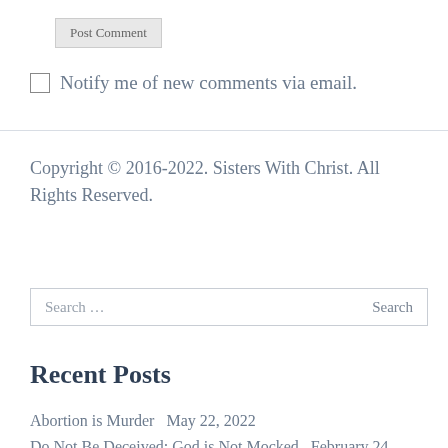Post Comment
Notify me of new comments via email.
Copyright © 2016-2022. Sisters With Christ. All Rights Reserved.
Search …  Search
Recent Posts
Abortion is Murder  May 22, 2022
Do Not Be Deceived: God is Not Mocked  February 24…